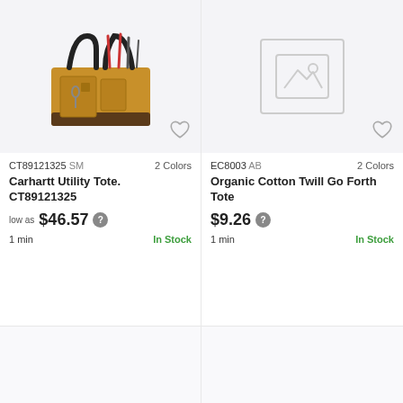[Figure (photo): Carhartt Utility Tote bag in tan/brown color filled with tools, shown on light gray background]
CT89121325 SM   2 Colors
Carhartt Utility Tote. CT89121325
low as $46.57
1 min   In Stock
[Figure (illustration): No image placeholder icon with mountain/image symbol inside a rounded rectangle border]
EC8003 AB   2 Colors
Organic Cotton Twill Go Forth Tote
$9.26
1 min   In Stock
[Figure (other): Empty product card area, bottom left]
[Figure (other): Empty product card area, bottom right]